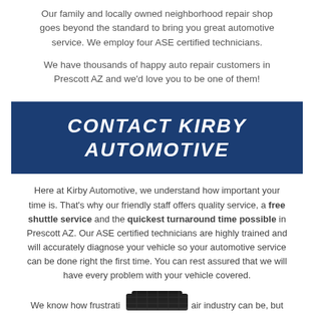Our family and locally owned neighborhood repair shop goes beyond the standard to bring you great automotive service. We employ four ASE certified technicians.
We have thousands of happy auto repair customers in Prescott AZ and we'd love you to be one of them!
CONTACT KIRBY AUTOMOTIVE
Here at Kirby Automotive, we understand how important your time is. That's why our friendly staff offers quality service, a free shuttle service and the quickest turnaround time possible in Prescott AZ. Our ASE certified technicians are highly trained and will accurately diagnose your vehicle so your automotive service can be done right the first time. You can rest assured that we will have every problem with your vehicle covered.
We know how frustrati... air industry can be, but